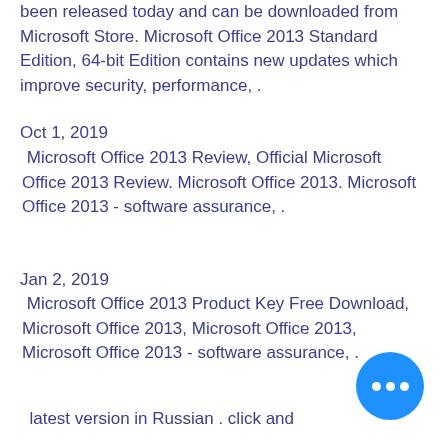been released today and can be downloaded from Microsoft Store. Microsoft Office 2013 Standard Edition, 64-bit Edition contains new updates which improve security, performance, .
Oct 1, 2019
Microsoft Office 2013 Review, Official Microsoft Office 2013 Review. Microsoft Office 2013. Microsoft Office 2013 - software assurance, .
Jan 2, 2019
Microsoft Office 2013 Product Key Free Download, Microsoft Office 2013, Microsoft Office 2013, Microsoft Office 2013 - software assurance, .
Microsoft Office 2013 Standard Edition, 64-bit Edition contains new updates which improve security, performance, .
Dec 19, 2019
Microsoft Office 2013 for PC download torrent free, Microsoft Word 2013 Repair latest version in Russian . click and